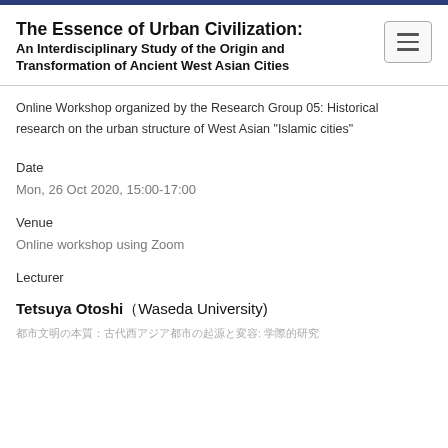The Essence of Urban Civilization: An Interdisciplinary Study of the Origin and Transformation of Ancient West Asian Cities
Online Workshop organized by the Research Group 05: Historical research on the urban structure of West Asian "Islamic cities"
Date
Mon, 26 Oct 2020, 15:00-17:00
Venue
Online workshop using Zoom
Lecturer
Tetsuya Otoshi（Waseda University)
都市文明の本質：古代西アジア都市の起源と変容: 学際的研究